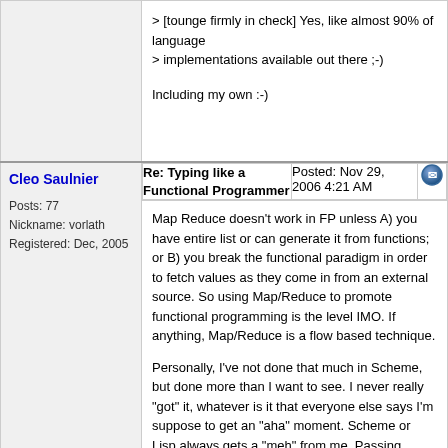> [tounge firmly in check] Yes, like almost 90% of language implementations available out there ;-)

Including my own :-)
Cleo Saulnier
Posts: 77
Nickname: vorlath
Registered: Dec, 2005
Re: Typing like a Functional Programmer
Posted: Nov 29, 2006 4:21 AM
Map Reduce doesn't work in FP unless A) you have entire list or can generate it from functions; or B) you break the functional paradigm in order to fetch values as they come in from an external source. So using Map/Reduce to promote functional programming is the level IMO. If anything, Map/Reduce is a flow based technique.

Personally, I've not done that much in Scheme, but done more than I want to see. I never really "got" it, whatever is it that everyone else says I'm suppose to get an "aha" moment. Scheme or Lisp always gets a "meh" from me. Passing around internal functions as delayed execution modules with partial input never appealed...